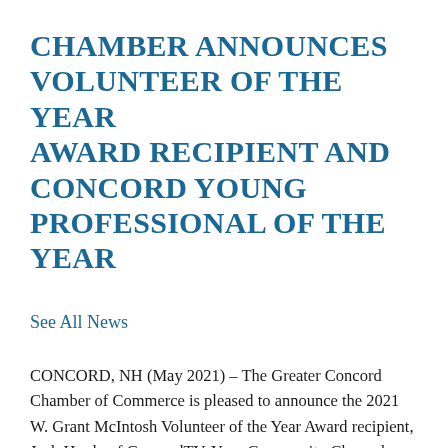CHAMBER ANNOUNCES VOLUNTEER OF THE YEAR AWARD RECIPIENT AND CONCORD YOUNG PROFESSIONAL OF THE YEAR
See All News
CONCORD, NH (May 2021) – The Greater Concord Chamber of Commerce is pleased to announce the 2021 W. Grant McIntosh Volunteer of the Year Award recipient, Josh Hardy of ConcordTV, Your Community Channels and Concord Young